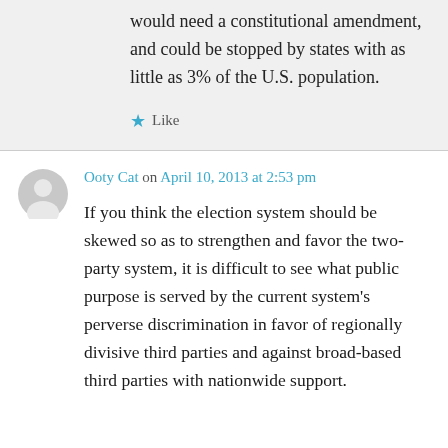would need a constitutional amendment, and could be stopped by states with as little as 3% of the U.S. population.
Like
Ooty Cat on April 10, 2013 at 2:53 pm
If you think the election system should be skewed so as to strengthen and favor the two-party system, it is difficult to see what public purpose is served by the current system's perverse discrimination in favor of regionally divisive third parties and against broad-based third parties with nationwide support.